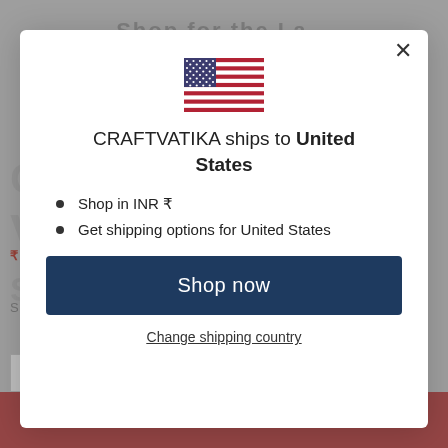[Figure (screenshot): Background website screenshot showing partially visible e-commerce product page for CRAFTVATIKA with gray overlay]
[Figure (illustration): US flag emoji/icon centered in modal]
CRAFTVATIKA ships to United States
Shop in INR ₹
Get shipping options for United States
Shop now
Change shipping country